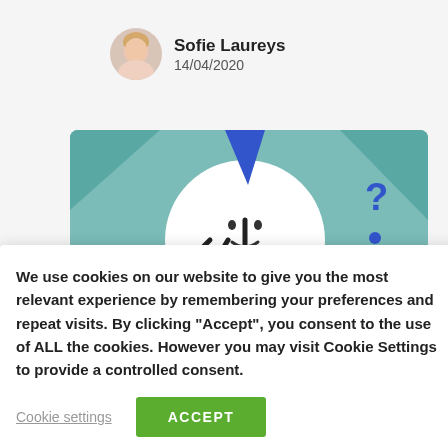[Figure (illustration): Author avatar photo of Sofie Laureys, a woman with blonde hair wearing a light pink outfit, circular crop]
Sofie Laureys
14/04/2020
[Figure (illustration): Partial illustration on teal/green background showing a clock-like or person figure with a question mark, partially obscured by cookie consent banner]
We use cookies on our website to give you the most relevant experience by remembering your preferences and repeat visits. By clicking "Accept", you consent to the use of ALL the cookies. However you may visit Cookie Settings to provide a controlled consent.
Cookie settings
ACCEPT